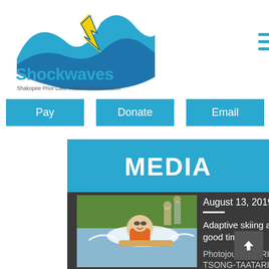[Figure (logo): Shockwaves - Shakopee Prior Lake Water Ski Association logo with stylized wave and bird graphic]
[Figure (photo): Partial photo of a person sledding or skiing on water in top right corner]
Pay
Donate
Email
MEDIA
[Figure (photo): Person with adaptive water ski equipment splashing in water, smiling, outdoors]
August 13, 2019
Adaptive skiing a splashing good time
Photojournalist RICHARD TSONG-TAATARII